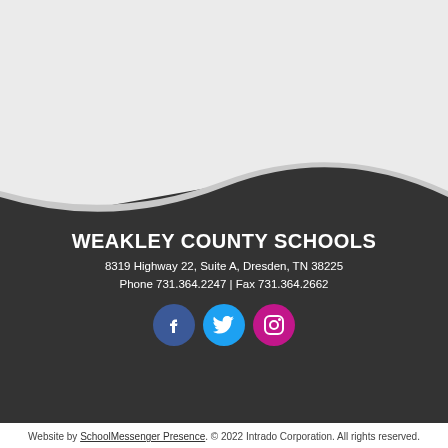School District through the Weakley County Farm to School Project.

More information about the Harvest of the Month program, recipes, how to purchase a calendar and informational posters can be found at nwtnlfn.org.
[Figure (illustration): Dark wave/footer background shape with social media icons for Facebook, Twitter, and Instagram, and Weakley County Schools contact info]
WEAKLEY COUNTY SCHOOLS
8319 Highway 22, Suite A, Dresden, TN 38225
Phone 731.364.2247 | Fax 731.364.2662
Website by SchoolMessenger Presence. © 2022 Intrado Corporation. All rights reserved.